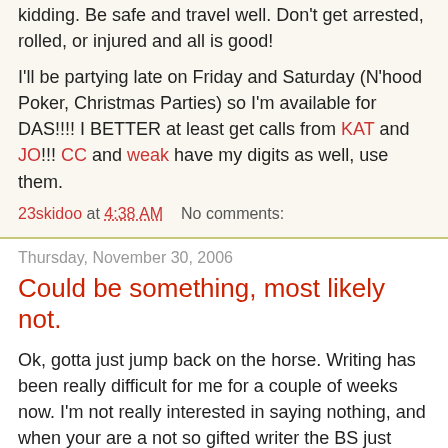kidding. Be safe and travel well. Don't get arrested, rolled, or injured and all is good!
I'll be partying late on Friday and Saturday (N'hood Poker, Christmas Parties) so I'm available for DAS!!!! I BETTER at least get calls from KAT and JO!!! CC and weak have my digits as well, use them.
23skidoo at 4:38 AM    No comments:
Thursday, November 30, 2006
Could be something, most likely not.
Ok, gotta just jump back on the horse. Writing has been really difficult for me for a couple of weeks now. I'm not really interested in saying nothing, and when your are a not so gifted writer the BS just ends up coming out just like BS.
So I'm just gonna try an go through a little life report and see if it generates some sparks. And for kicks I'll work backwards.